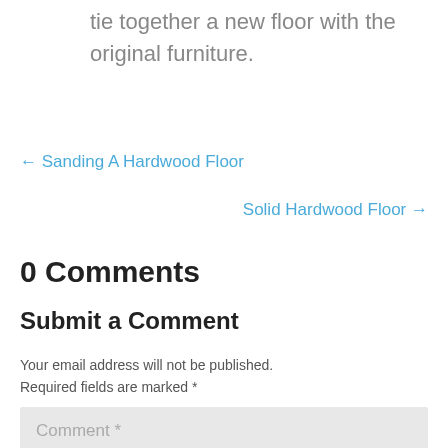tie together a new floor with the original furniture.
← Sanding A Hardwood Floor
Solid Hardwood Floor →
0 Comments
Submit a Comment
Your email address will not be published. Required fields are marked *
Comment *